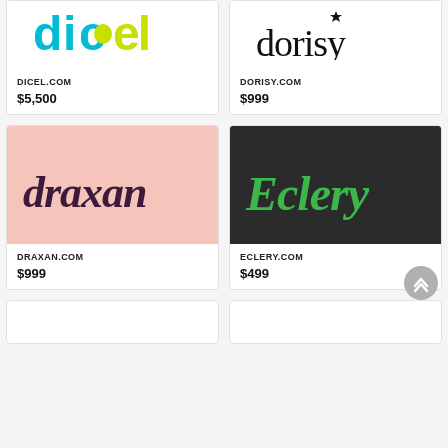[Figure (logo): dicel logo in cyan and yellow-green on white background]
DICEL.COM
$5,500
[Figure (logo): dorisy logo in black serif with star on white background]
DORISY.COM
$999
[Figure (logo): draxan logo in dark purple serif on pink background]
DRAXAN.COM
$999
[Figure (logo): Eclery logo in green script on dark background]
ECLERY.COM
$499
[Figure (logo): Partial bottom card on cream background]
[Figure (logo): Partial bottom card on purple background]